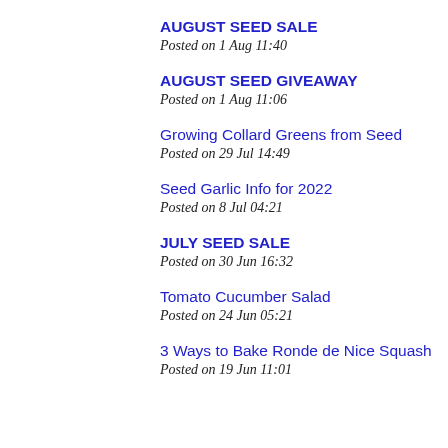AUGUST SEED SALE
Posted on 1 Aug 11:40
AUGUST SEED GIVEAWAY
Posted on 1 Aug 11:06
Growing Collard Greens from Seed
Posted on 29 Jul 14:49
Seed Garlic Info for 2022
Posted on 8 Jul 04:21
JULY SEED SALE
Posted on 30 Jun 16:32
Tomato Cucumber Salad
Posted on 24 Jun 05:21
3 Ways to Bake Ronde de Nice Squash
Posted on 19 Jun 11:01